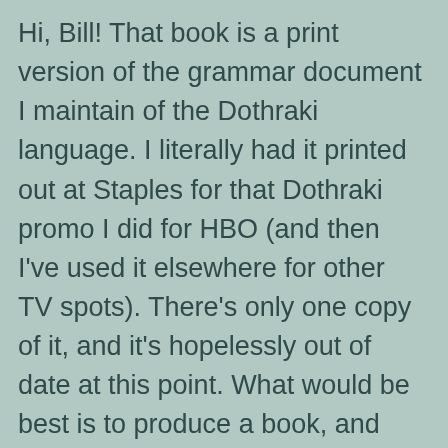Hi, Bill! That book is a print version of the grammar document I maintain of the Dothraki language. I literally had it printed out at Staples for that Dothraki promo I did for HBO (and then I've used it elsewhere for other TV spots). There's only one copy of it, and it's hopelessly out of date at this point. What would be best is to produce a book, and both I and HBO are open to the idea, but thus far there hasn't been any interest from any publishers.
As for the .mp3's, I have them all on my computer. I could probably put them up